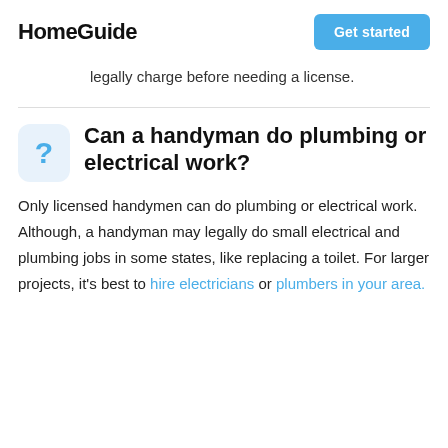HomeGuide | Get started
legally charge before needing a license.
Can a handyman do plumbing or electrical work?
Only licensed handymen can do plumbing or electrical work. Although, a handyman may legally do small electrical and plumbing jobs in some states, like replacing a toilet. For larger projects, it's best to hire electricians or plumbers in your area.